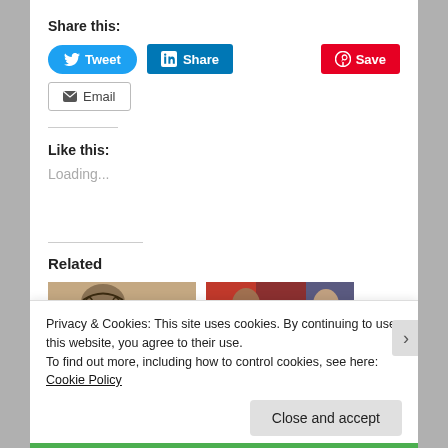Share this:
[Figure (screenshot): Tweet button (Twitter/X blue rounded button)]
[Figure (screenshot): LinkedIn Share button (blue square button)]
[Figure (screenshot): Pinterest Save button (red button)]
[Figure (screenshot): Email button (outlined grey button with envelope icon)]
Like this:
Loading...
Related
[Figure (photo): Thumbnail photo 1 showing a person with dreadlocks]
[Figure (photo): Thumbnail photo 2 showing a person in a red and black outfit with another person wearing a mask]
Privacy & Cookies: This site uses cookies. By continuing to use this website, you agree to their use.
To find out more, including how to control cookies, see here: Cookie Policy
Close and accept